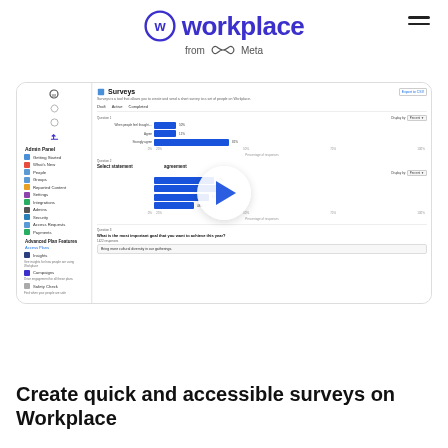[Figure (logo): Workplace from Meta logo — circular W icon in blue/purple with 'workplace' wordmark in dark blue/purple and 'from Meta' tagline below]
[Figure (screenshot): Screenshot of Workplace Admin Panel showing Surveys feature with horizontal bar charts and a video play button overlay in the center]
Create quick and accessible surveys on Workplace